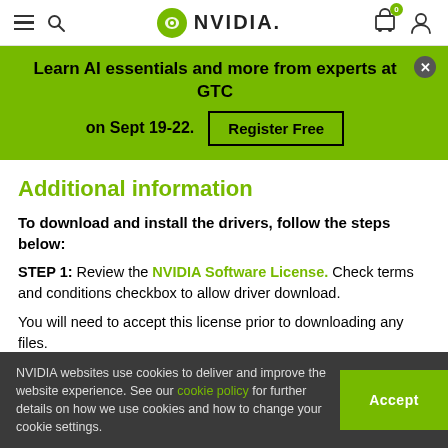NVIDIA website header with hamburger menu, search, NVIDIA logo, cart (0), and user account icon
Learn AI essentials and more from experts at GTC on Sept 19-22. Register Free
Additional information
To download and install the drivers, follow the steps below:
STEP 1: Review the NVIDIA Software License. Check terms and conditions checkbox to allow driver download.
You will need to accept this license prior to downloading any files.
NVIDIA websites use cookies to deliver and improve the website experience. See our cookie policy for further details on how we use cookies and how to change your cookie settings. Accept